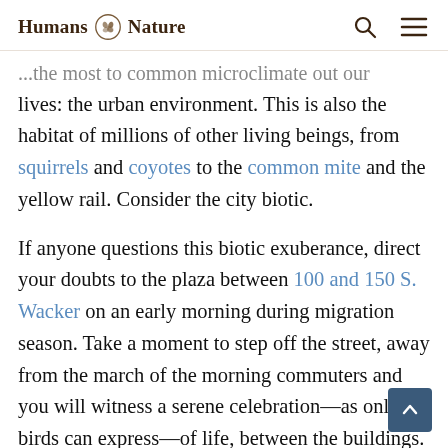Humans Nature
...the most common microclimate out our lives: the urban environment. This is also the habitat of millions of other living beings, from squirrels and coyotes to the common mite and the yellow rail. Consider the city biotic.
If anyone questions this biotic exuberance, direct your doubts to the plaza between 100 and 150 S. Wacker on an early morning during migration season. Take a moment to step off the street, away from the march of the morning commuters and you will witness a serene celebration—as only birds can express—of life, between the buildings.